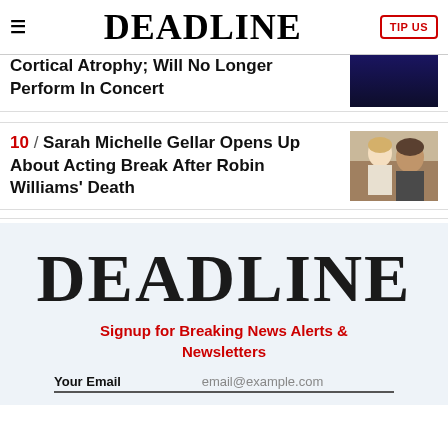DEADLINE | TIP US
Cortical Atrophy; Will No Longer Perform In Concert
10 / Sarah Michelle Gellar Opens Up About Acting Break After Robin Williams' Death
[Figure (logo): DEADLINE logo large in dark text on light blue background]
Signup for Breaking News Alerts & Newsletters
Your Email  email@example.com